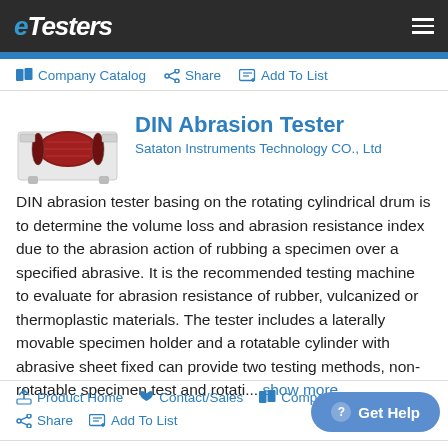eTesters
Company Catalog   Share   Add To List
DIN Abrasion Tester
Sataton Instruments Technology CO., Ltd
[Figure (photo): DIN Abrasion Tester machine with rotating cylindrical drum, red drum visible, white cabinet body]
DIN abrasion tester basing on the rotating cylindrical drum is to determine the volume loss and abrasion resistance index due to the abrasion action of rubbing a specimen over a specified abrasive. It is the recommended testing machine to evaluate for abrasion resistance of rubber, vulcanized or thermoplastic materials. The tester includes a laterally movable specimen holder and a rotatable cylinder with abrasive sheet fixed can provide two testing methods, non-rotatable specimen test and rotati... show more
Product Home   Contact/Sales   Company Catalog   Share   Add To List